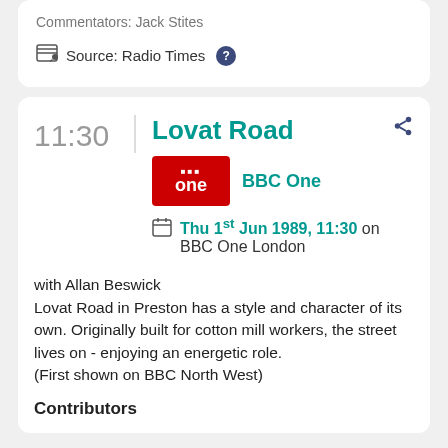Commentators: Jack Stites
Source: Radio Times
11:30
Lovat Road
[Figure (logo): BBC One red logo with 'bbc one' text]
BBC One
Thu 1st Jun 1989, 11:30 on BBC One London
with Allan Beswick
Lovat Road in Preston has a style and character of its own. Originally built for cotton mill workers, the street lives on - enjoying an energetic role.
(First shown on BBC North West)
Contributors